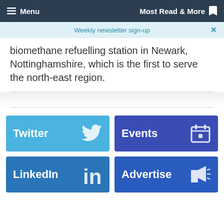Menu  Most Read & More
Weekly newsletter sign-up
biomethane refuelling station in Newark, Nottinghamshire, which is the first to serve the north-east region.
[Figure (other): Twitter button - blue rectangle with Twitter bird icon]
[Figure (other): Events button - dark blue rectangle with calendar icon]
[Figure (other): LinkedIn button - blue rectangle with LinkedIn 'in' icon]
[Figure (other): Advertise button - dark blue rectangle with megaphone icon]